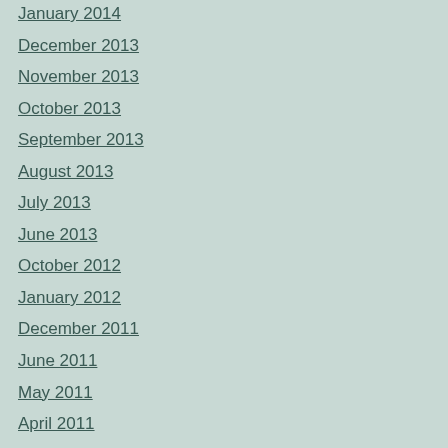January 2014
December 2013
November 2013
October 2013
September 2013
August 2013
July 2013
June 2013
October 2012
January 2012
December 2011
June 2011
May 2011
April 2011